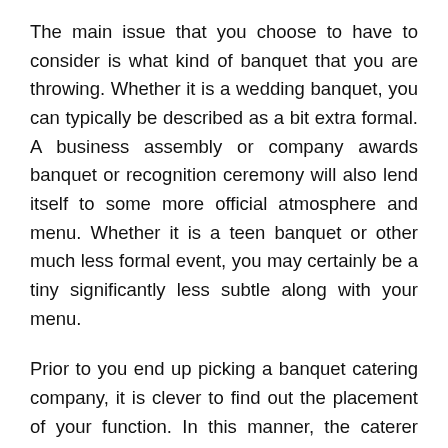The main issue that you choose to have to consider is what kind of banquet that you are throwing. Whether it is a wedding banquet, you can typically be described as a bit extra formal. A business assembly or company awards banquet or recognition ceremony will also lend itself to some more official atmosphere and menu. Whether it is a teen banquet or other much less formal event, you may certainly be a tiny significantly less subtle along with your menu.
Prior to you end up picking a banquet catering company, it is clever to find out the placement of your function. In this manner, the caterer could have a much better concept of how and the place they can set things up. If you want to hire additional merchandise like plates, silverware, tables, or chairs,